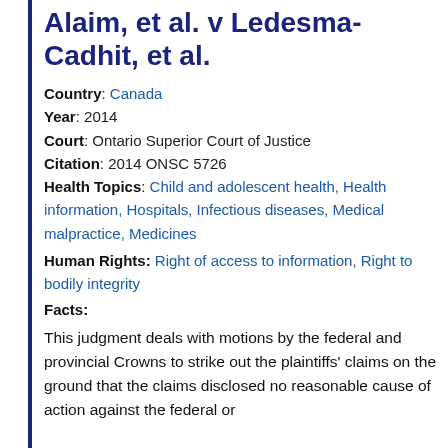Alaim, et al. v Ledesma-Cadhit, et al.
Country: Canada
Year: 2014
Court: Ontario Superior Court of Justice
Citation: 2014 ONSC 5726
Health Topics: Child and adolescent health, Health information, Hospitals, Infectious diseases, Medical malpractice, Medicines
Human Rights: Right of access to information, Right to bodily integrity
Facts:
This judgment deals with motions by the federal and provincial Crowns to strike out the plaintiffs' claims on the ground that the claims disclosed no reasonable cause of action against the federal or